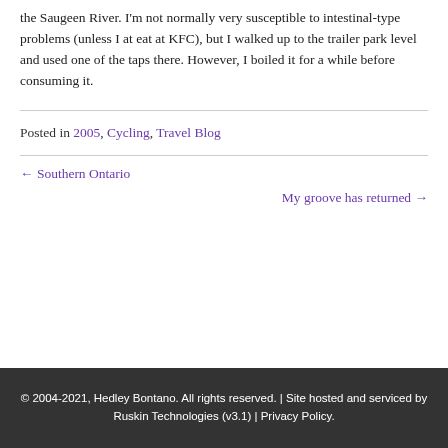the Saugeen River. I'm not normally very susceptible to intestinal-type problems (unless I at eat at KFC), but I walked up to the trailer park level and used one of the taps there. However, I boiled it for a while before consuming it.
Posted in 2005, Cycling, Travel Blog
← Southern Ontario
My groove has returned →
© 2004-2021, Hedley Bontano. All rights reserved. | Site hosted and serviced by Ruskin Technologies (v3.1) | Privacy Policy.